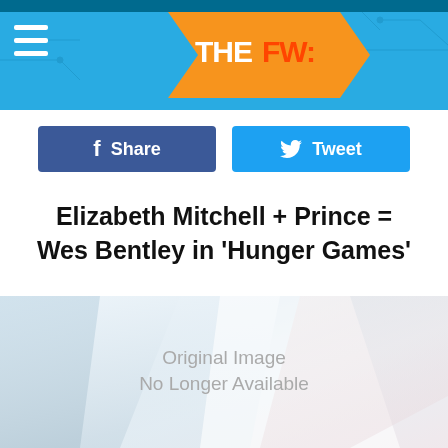THE FW:
Share
Tweet
Elizabeth Mitchell + Prince = Wes Bentley in 'Hunger Games'
[Figure (photo): Original Image No Longer Available placeholder image with abstract light geometric background]